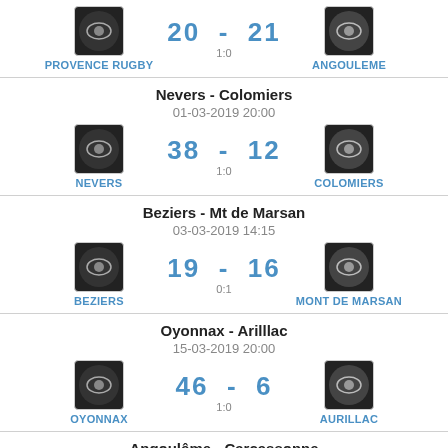| Home | Score | Away |
| --- | --- | --- |
| PROVENCE RUGBY | 20 - 21 (1:0) | ANGOULEME |
| NEVERS | 38 - 12 (1:0) | COLOMIERS |
| BEZIERS | 19 - 16 (0:1) | MONT DE MARSAN |
| OYONNAX | 46 - 6 (1:0) | AURILLAC |
| ANGOULEME | ?? - ??  | CARCASSONNE |
Nevers - Colomiers | 01-03-2019 20:00
Beziers - Mt de Marsan | 03-03-2019 14:15
Oyonnax - Arilllac | 15-03-2019 20:00
Angoulême - Carcassonne | 15-03-2019 20:00